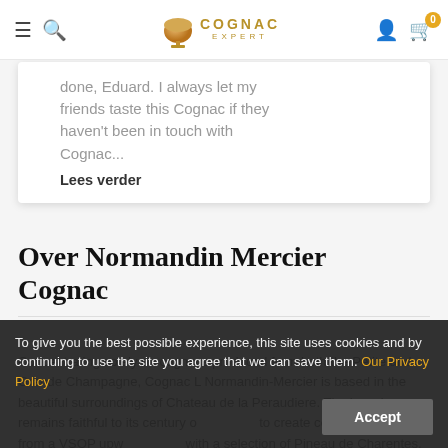Cognac Expert — navigation bar with hamburger, search, logo, user, and cart icons
done, Eduard. I always let my friends taste this Cognac if they haven't been in touch with Cognac...
Lees verder
Over Normandin Mercier Cognac
Concentrating solely on cognacs produced from both the Petite and Grande Champagne, Cognac L Normandin-Mercier is based in the beautiful surroundings of Chateau de la Peraudiere. The brand remains faithful to its century of tradition to create cognacs that range from a VSOP upwards with a selection of Pineau de Charentes. This family run cognac house
To give you the best possible experience, this site uses cookies and by continuing to use the site you agree that we can save them. Our Privacy Policy Accept